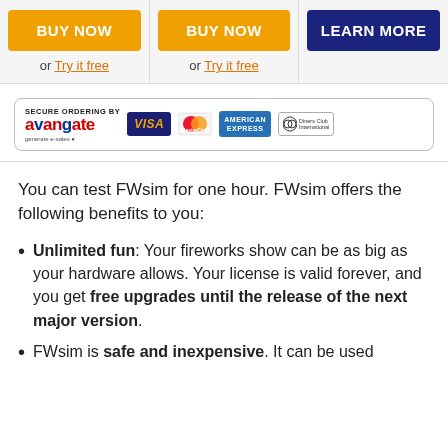BUY NOW
or Try it free
BUY NOW
or Try it free
LEARN MORE
[Figure (logo): Secure Ordering by Avangate with Visa, MasterCard, American Express, and Diners Club International card logos]
You can test FWsim for one hour. FWsim offers the following benefits to you:
Unlimited fun: Your fireworks show can be as big as your hardware allows. Your license is valid forever, and you get free upgrades until the release of the next major version.
FWsim is safe and inexpensive. It can be used